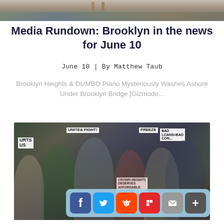[Figure (photo): Top portion of outdoor photo showing what appears to be wooden chairs or furniture near water]
Media Rundown: Brooklyn in the news for June 10
June 10 | By Matthew Taub
Brooklyn Heights & DUMBO Piano Mysteriously Washes Ashore Under Brooklyn Bridge [Gizmodo...
[Figure (photo): Protest scene with people holding signs reading 'UNITE & FIGHT!', 'BAD LOANS = BAD CONDO', 'CROWN HEIGHTS DESERVES AFFORDABLE HOUSING' and other signs. Diverse crowd of protesters.]
[Figure (infographic): Social sharing buttons bar at bottom right: Facebook (blue), Twitter (blue), Reddit (orange), Flipboard (red), Email (gray), Plus/More (dark gray)]